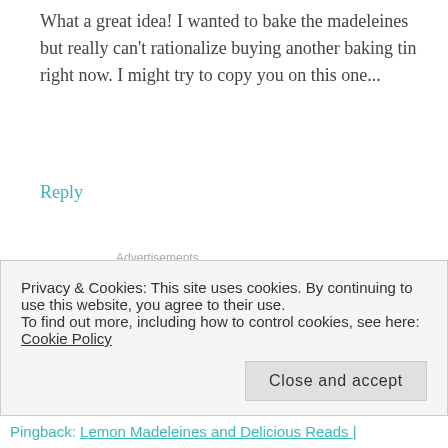What a great idea! I wanted to bake the madeleines but really can't rationalize buying another baking tin right now. I might try to copy you on this one...
Reply
Advertisements
[Figure (other): Red advertisement banner strip with partial image thumbnail]
Karen
OCTOBER 7, 2011 AT 9:19 PM
[Figure (photo): Circular avatar photo of Karen, a woman in a light blue top outdoors with a child]
Privacy & Cookies: This site uses cookies. By continuing to use this website, you agree to their use.
To find out more, including how to control cookies, see here: Cookie Policy
Close and accept
Pingback: Lemon Madeleines and Delicious Reads |